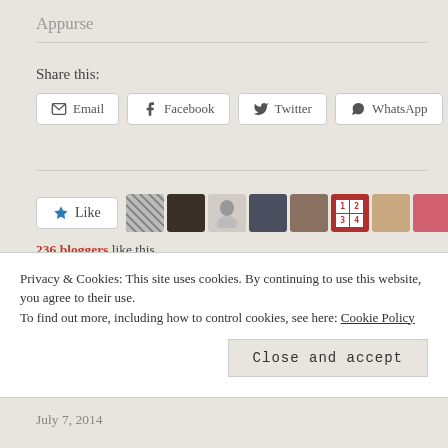Appurse
Share this:
Email  Facebook  Twitter  WhatsApp
[Figure (other): Like button with 9 blogger avatar thumbnails]
236 bloggers like this.
Related
Suriname, Part the First: Roots
Privacy & Cookies: This site uses cookies. By continuing to use this website, you agree to their use.
To find out more, including how to control cookies, see here: Cookie Policy
Close and accept
July 7, 2014